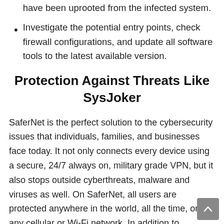have been uprooted from the infected system.
Investigate the potential entry points, check firewall configurations, and update all software tools to the latest available version.
Protection Against Threats Like SysJoker
SaferNet is the perfect solution to the cybersecurity issues that individuals, families, and businesses face today. It not only connects every device using a secure, 24/7 always on, military grade VPN, but it also stops outside cyberthreats, malware and viruses as well. On SaferNet, all users are protected anywhere in the world, all the time, on any cellular or Wi-Fi network. In addition to SaferNet's VPN and cyber protection, it also offers a range of employee or parental/family internet controls including internet filtering, monitoring, scheduling, and blocking access to websites or even entire website categories